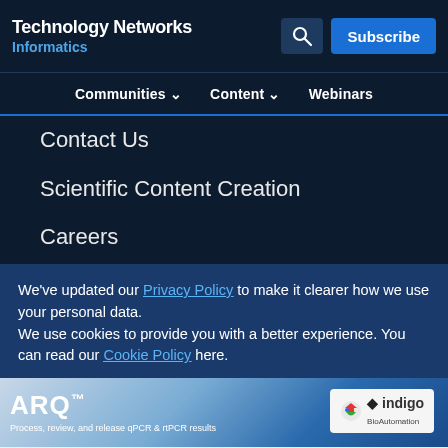Technology Networks Informatics
Communities | Content | Webinars
Contact Us
Scientific Content Creation
Careers
Editorial Policies
Scopes
Meet the Team
Scientific Advisory Board
We've updated our Privacy Policy to make it clearer how we use your personal data.
We use cookies to provide you with a better experience. You can read our Cookie Policy here.
I Understand
Advertisement
[Figure (other): ARQ advertisement banner by indigo BioAutomation — Process, review, and release qPCR & rtPCR results]